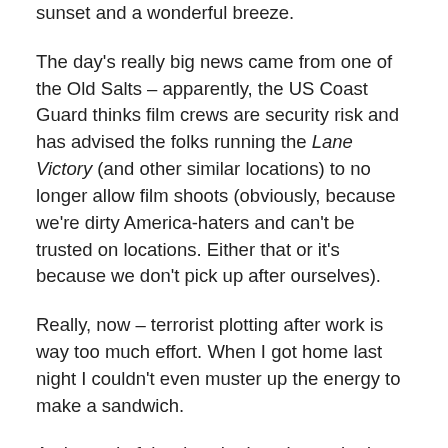sunset and a wonderful breeze.
The day's really big news came from one of the Old Salts – apparently, the US Coast Guard thinks film crews are security risk and has advised the folks running the Lane Victory (and other similar locations) to no longer allow film shoots (obviously, because we're dirty America-haters and can't be trusted on locations. Either that or it's because we don't pick up after ourselves).
Really, now – terrorist plotting after work is way too much effort. When I got home last night I couldn't even muster up the energy to make a sandwich.
At the end of the day, the best boy asked me to come back with the shooting unit that's working today, but I'd already been booked on another show (which is good, but I hate saying no because I'm always afraid they'll give up on me